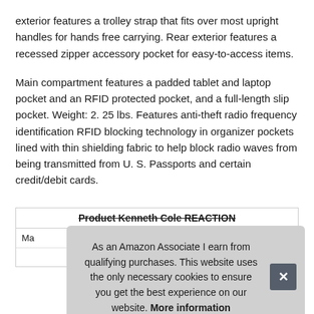exterior features a trolley strap that fits over most upright handles for hands free carrying. Rear exterior features a recessed zipper accessory pocket for easy-to-access items.
Main compartment features a padded tablet and laptop pocket and an RFID protected pocket, and a full-length slip pocket. Weight: 2. 25 lbs. Features anti-theft radio frequency identification RFID blocking technology in organizer pockets lined with thin shielding fabric to help block radio waves from being transmitted from U. S. Passports and certain credit/debit cards.
| Product Kenneth Cole REACTION |
| --- |
| Ma |
|  |
As an Amazon Associate I earn from qualifying purchases. This website uses the only necessary cookies to ensure you get the best experience on our website. More information